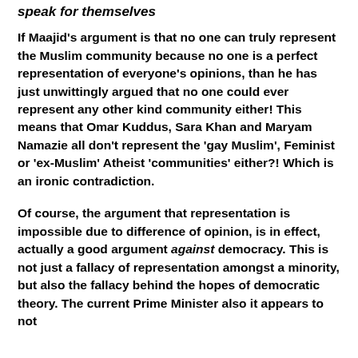speak for themselves
If Maajid's argument is that no one can truly represent the Muslim community because no one is a perfect representation of everyone's opinions, than he has just unwittingly argued that no one could ever represent any other kind community either! This means that Omar Kuddus, Sara Khan and Maryam Namazie all don't represent the 'gay Muslim', Feminist or 'ex-Muslim' Atheist 'communities' either?! Which is an ironic contradiction.
Of course, the argument that representation is impossible due to difference of opinion, is in effect, actually a good argument against democracy. This is not just a fallacy of representation amongst a minority, but also the fallacy behind the hopes of democratic theory. The current Prime Minister also it appears to not...